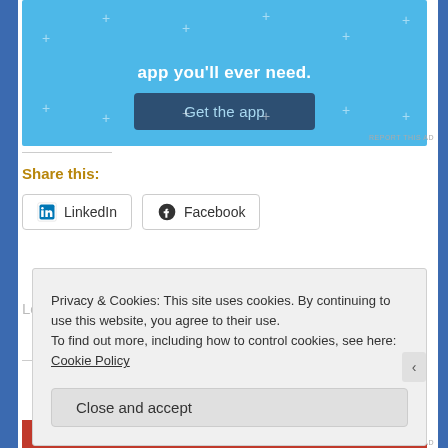[Figure (screenshot): App advertisement banner with blue background and 'Get the app' button]
REPORT THIS AD
Share this:
[Figure (screenshot): LinkedIn share button]
[Figure (screenshot): Facebook share button]
Loading...
Privacy & Cookies: This site uses cookies. By continuing to use this website, you agree to their use.
To find out more, including how to control cookies, see here: Cookie Policy
Close and accept